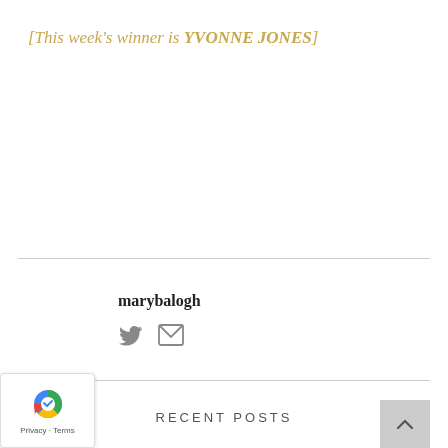[This week's winner is YVONNE JONES]
marybalogh
[Figure (illustration): Twitter bird icon and envelope/email icon in gray]
RECENT POSTS
[Figure (other): Blue colored bar at the bottom of the page]
[Figure (other): Google reCAPTCHA widget overlay with Privacy and Terms links]